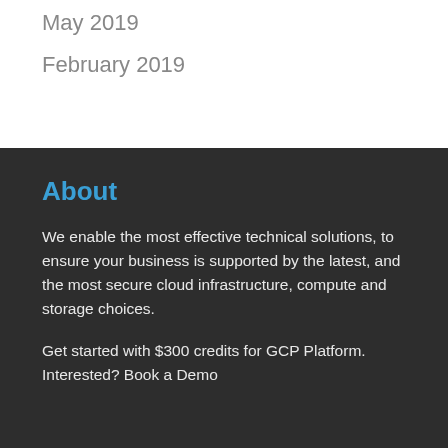May 2019
February 2019
About
We enable the most effective technical solutions, to ensure your business is supported by the latest, and the most secure cloud infrastructure, compute and storage choices.
Get started with $300 credits for GCP Platform. Interested? Book a Demo